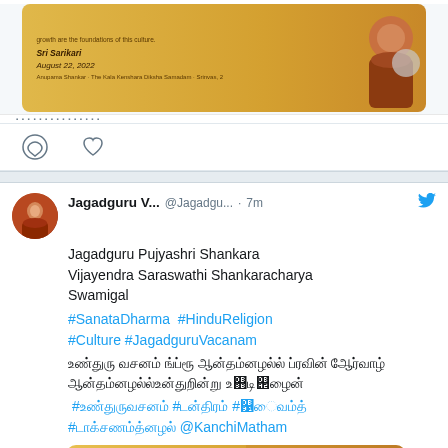[Figure (screenshot): Top of Twitter/X feed showing a tweet with an image of a religious post featuring 'Sri Sarikari August 22, 2022' text on a golden background with a monk figure]
[Figure (infographic): Tweet action icons: comment bubble and heart/like icons]
Jagadguru V... @Jagadgu... · 7m
Jagadguru Pujyashri Shankara Vijayendra Saraswathi Shankaracharya Swamigal
#SanataDharma #HinduReligion #Culture #JagadguruVacanam
[Tamil script text]
#[Tamil] #[Tamil] #[Tamil]
#[Tamil] @KanchiMatham
[Figure (screenshot): Video thumbnail on golden background showing 'Jagadkuru Vacanam / Jagadguru Vacana' text with a monk holding a silver/metal item, and a blue play button in the center]